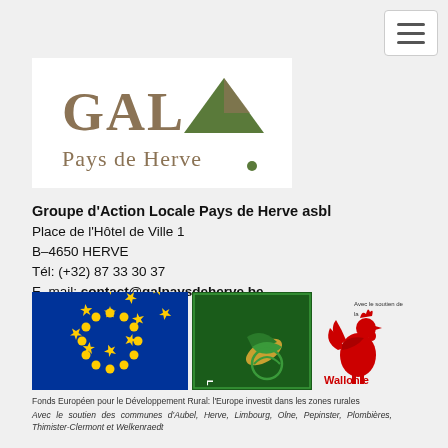[Figure (logo): GAL Pays de Herve logo — text 'GAL' with a green/brown mountain graphic and 'Pays de Herve' text below, white background]
Groupe d'Action Locale Pays de Herve asbl
Place de l'Hôtel de Ville 1
B-4650 HERVE
Tél: (+32) 87 33 30 37
E-mail: contact@galpaysdeherve.be
[Figure (logo): Three logos side by side: EU flag (blue with yellow stars), LEADER programme logo (green with olive branch and text LEADER), Wallonie logo (red rooster with text 'Avec le soutien de la Wallonie')]
Fonds Européen pour le Développement Rural: l'Europe investit dans les zones rurales
Avec le soutien des communes d'Aubel, Herve, Limbourg, Olne, Pepinster, Plombières, Thimister-Clermont et Welkenraedt